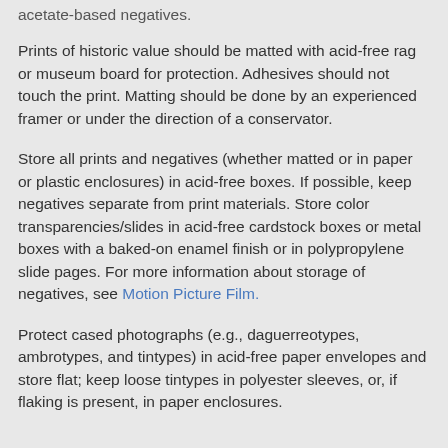acetate-based negatives.
Prints of historic value should be matted with acid-free rag or museum board for protection. Adhesives should not touch the print. Matting should be done by an experienced framer or under the direction of a conservator.
Store all prints and negatives (whether matted or in paper or plastic enclosures) in acid-free boxes. If possible, keep negatives separate from print materials. Store color transparencies/slides in acid-free cardstock boxes or metal boxes with a baked-on enamel finish or in polypropylene slide pages. For more information about storage of negatives, see Motion Picture Film.
Protect cased photographs (e.g., daguerreotypes, ambrotypes, and tintypes) in acid-free paper envelopes and store flat; keep loose tintypes in polyester sleeves, or, if flaking is present, in paper enclosures.